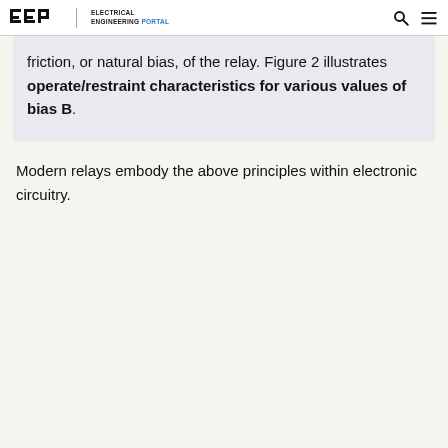EEP | Electrical Engineering Portal
friction, or natural bias, of the relay. Figure 2 illustrates operate/restraint characteristics for various values of bias B.
Modern relays embody the above principles within electronic circuitry.